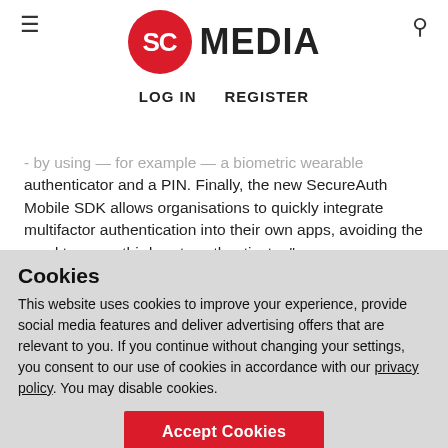SC MEDIA — LOG IN  REGISTER
authenticator and a PIN. Finally, the new SecureAuth Mobile SDK allows organisations to quickly integrate multifactor authentication into their own apps, avoiding the need to use a third-party authenticator."
9. IPO values Darktrace at £2.2 billion
10. KnowBe4 Launches Artificial Intelligence-Driven Phishing Feature - "The KnowBe4 phishing platform now leverages machine learning to recommend and deliver
Cookies
This website uses cookies to improve your experience, provide social media features and deliver advertising offers that are relevant to you. If you continue without changing your settings, you consent to our use of cookies in accordance with our privacy policy. You may disable cookies.